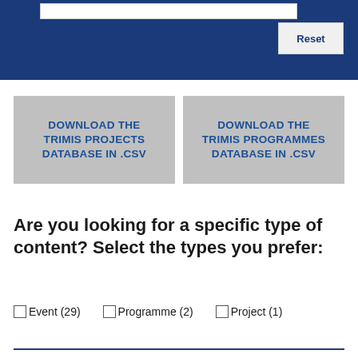[Figure (screenshot): Blue header banner with white search input bar at top and a Reset button on the right side]
DOWNLOAD THE TRIMIS PROJECTS DATABASE IN .CSV
DOWNLOAD THE TRIMIS PROGRAMMES DATABASE IN .CSV
Are you looking for a specific type of content? Select the types you prefer:
Event (29)
Programme (2)
Project (1)